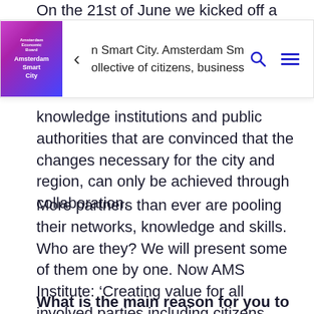On the 21st of June we kicked off a new phase of
[Figure (screenshot): Amsterdam Smart City navigation bar with logo (pink/purple gradient with Amsterdam Smart City text), back arrow, partial text 'n Smart City. Amsterdam Sm' and 'ollective of citizens, business', search icon (blue), and hamburger menu icon (blue)]
knowledge institutions and public authorities that are convinced that the changes necessary for the city and region, can only be achieved through collaboration.
More partners than ever are pooling their networks, knowledge and skills. Who are they? We will present some of them one by one. Now AMS Institute: ‘Creating value for all involved parties including citizens makes the process of innovation more complex, but leads to better results.’
What is the main reason for you to join the open